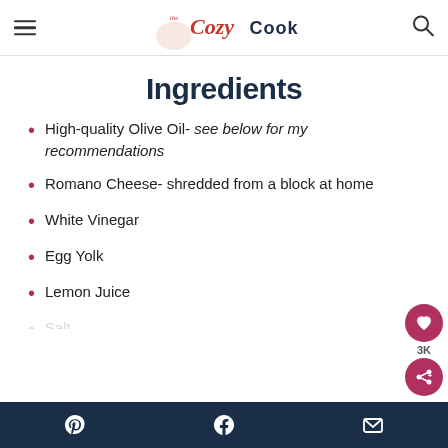The Cozy Cook – navigation header with hamburger menu and search icon
Ingredients
High-quality Olive Oil- see below for my recommendations
Romano Cheese- shredded from a block at home
White Vinegar
Egg Yolk
Lemon Juice
Social share bar: Pinterest, Facebook, Email | Heart 3K | Share